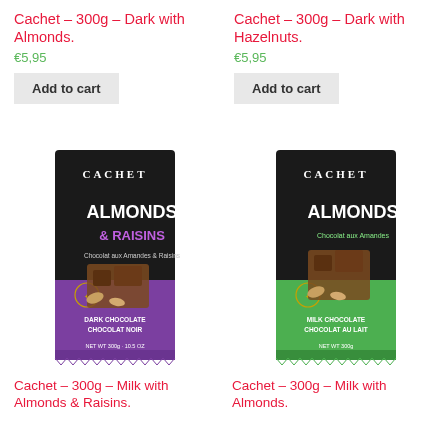Cachet – 300g – Dark with Almonds.
€5,95
Add to cart
Cachet – 300g – Dark with Hazelnuts.
€5,95
Add to cart
[Figure (photo): Cachet chocolate bar package – Almonds & Raisins, dark chocolate, black and purple packaging, 300g]
Cachet – 300g – Milk with Almonds & Raisins.
[Figure (photo): Cachet chocolate bar package – Almonds, milk chocolate, black and green packaging, 300g]
Cachet – 300g – Milk with Almonds.